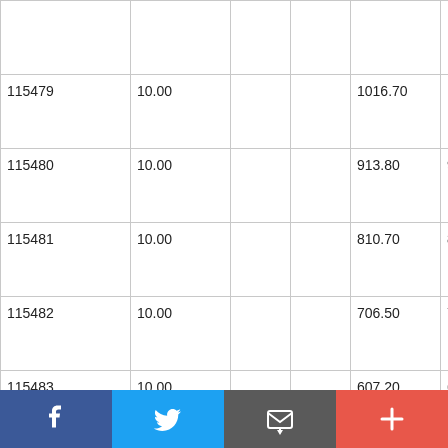|  |  |  |  |  |  |
| 115479 | 10.00 |  |  | 1016.70 | 1018.20 |
| 115480 | 10.00 |  |  | 913.80 | 915.30 |
| 115481 | 10.00 |  |  | 810.70 | 812.20 |
| 115482 | 10.00 |  |  | 706.50 | 708.00 |
| 115483 | 10.00 |  |  | 607.20 | 608.70 |